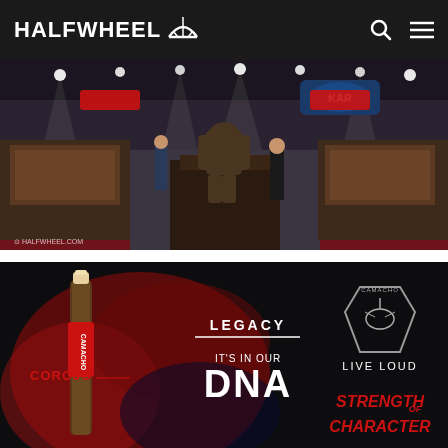HALFWHEEL
[Figure (photo): Trade show floor with a person in a Bigfoot/Sasquatch costume standing on a display table, surrounded by cigar display cases. Red carpet, booths, and attendees visible. HALFWHEEL.COM watermark in corner.]
[Figure (photo): Camacho Corojo cigar advertisement with dark red smoky background. Shows a cigar with CAMACHO band, text reading COROJO, LEGACY, IT'S IN OUR DNA, CAMACHO logo with scorpion, LIVE LOUD, and STRENGTH OF CHARACTER.]